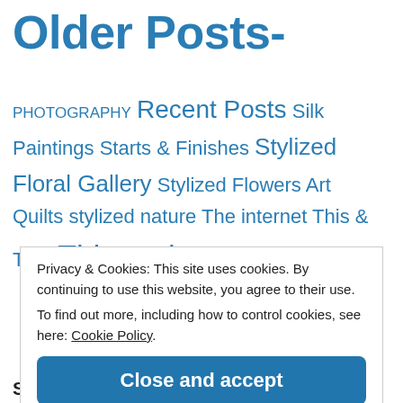Older Posts-
PHOTOGRAPHY Recent Posts Silk Paintings Starts & Finishes Stylized Floral Gallery Stylized Flowers Art Quilts stylized nature The internet This & Thàt This and
Privacy & Cookies: This site uses cookies. By continuing to use this website, you agree to their use.
To find out more, including how to control cookies, see here: Cookie Policy
Close and accept
Social